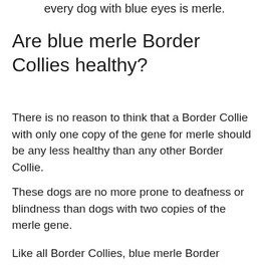every dog with blue eyes is merle.
Are blue merle Border Collies healthy?
There is no reason to think that a Border Collie with only one copy of the gene for merle should be any less healthy than any other Border Collie.
These dogs are no more prone to deafness or blindness than dogs with two copies of the merle gene.
Like all Border Collies, blue merle Border